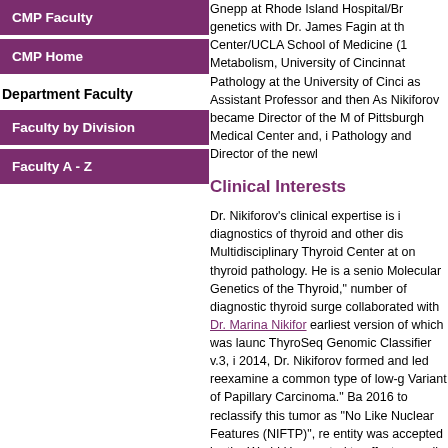CMP Faculty
CMP Home
Department Faculty
Faculty by Division
Faculty A - Z
Gnepp at Rhode Island Hospital/Br genetics with Dr. James Fagin at th Center/UCLA School of Medicine (1 Metabolism, University of Cincinnat Pathology at the University of Cinci as Assistant Professor and then As Nikiforov became Director of the M of Pittsburgh Medical Center and, i Pathology and Director of the newl
Clinical Interests
Dr. Nikiforov's clinical expertise is i diagnostics of thyroid and other dis Multidisciplinary Thyroid Center at on thyroid pathology. He is a senio Molecular Genetics of the Thyroid, number of diagnostic thyroid surge collaborated with Dr. Marina Nikfor earliest version of which was launc ThyroSeq Genomic Classifier v.3, i 2014, Dr. Nikiforov formed and led reexamine a common type of low-g Variant of Papillary Carcinoma. Ba 2016 to reclassify this tumor as No Like Nuclear Features (NIFTP), re entity was accepted by the World H expected to affect annually >50,000 decreasing incidence of thyroid car